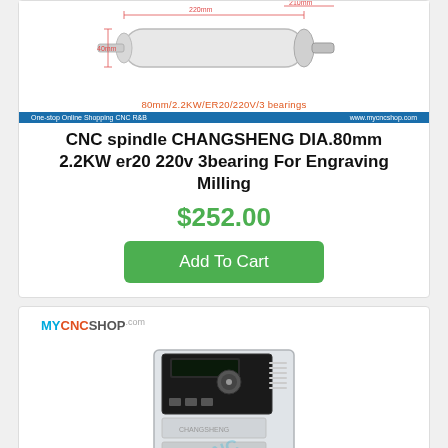[Figure (photo): CNC spindle motor diagram showing dimensions: 40mm, 220mm, 210mm with red dimension lines on white spindle body]
80mm/2.2KW/ER20/220V/3 bearings
CNC spindle CHANGSHENG DIA.80mm 2.2KW er20 220v 3bearing For Engraving Milling
$252.00
Add To Cart
[Figure (logo): MYCNCSHOP.com logo with MY in blue, CNC in orange-red, SHOP in gray]
[Figure (photo): VFD/frequency inverter drive unit, white metal enclosure with control panel on front, gray side vents]